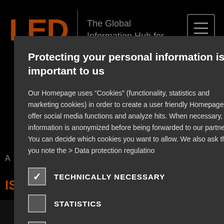[Figure (screenshot): Background website page for LED information hub, partially obscured by cookie consent modal. Shows LED logo in orange, tagline 'The Global Information Hub for', hamburger menu, blue banner with 'THE CON', search bar, members text, orange headline 'IS... ew Members', body text, and dark bottom strip.]
Protecting your personal information is important to us
Our Homepage uses “Cookies” (functionality, statistics and marketing cookies) in order to create a user friendly Homepage, offer social media functions and analyze hits. When necessary, information is anonymized before being forwarded to our partners. You can decide which cookies you want to allow. We also ask that you note the > Data protection regulatino
TECHNICALLY NECESSARY
STATISTICS
MARKETING